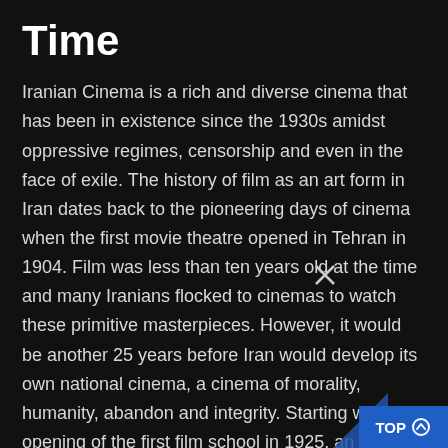Time
Iranian Cinema is a rich and diverse cinema that has been in existence since the 1930s amidst oppressive regimes, censorship and even in the face of exile. The history of film as an art form in Iran dates back to the pioneering days of cinema when the first movie theatre opened in Tehran in 1904. Film was less than ten years old at the time and many Iranians flocked to cinemas to watch these primitive masterpieces. However, it would be another 25 years before Iran would develop its own national cinema, a cinema of morality, humanity, abandon and integrity. Starting with the opening of the first film school in 1925, an Iranian national cinema quickly began to develop. Since then, cinema has served as an ambassador for Iran, the heart and soul of a country marred by years of insta... As a result Iranian national cinema has become... engaging, chaotic, soulful and poignant cinema. It remains